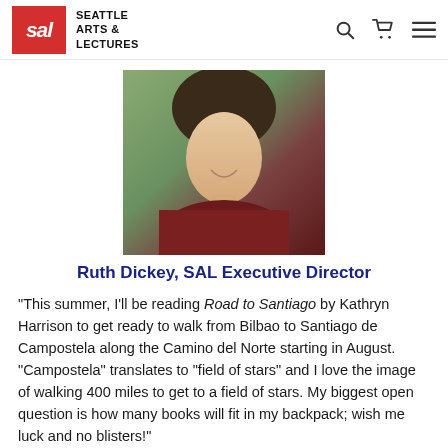SAL — Seattle Arts & Lectures
[Figure (photo): Headshot of Ruth Dickey, a woman with dark hair, smiling, wearing a dark red/maroon wrap, with greenery in the background.]
Ruth Dickey, SAL Executive Director
“This summer, I’ll be reading Road to Santiago by Kathryn Harrison to get ready to walk from Bilbao to Santiago de Campostela along the Camino del Norte starting in August.  “Campostela” translates to “field of stars” and I love the image of walking 400 miles to get to a field of stars.  My biggest open question is how many books will fit in my backpack; wish me luck and no blisters!”
[Figure (photo): Headshot of another woman with long dark wavy hair, smiling, with greenery in the background.]